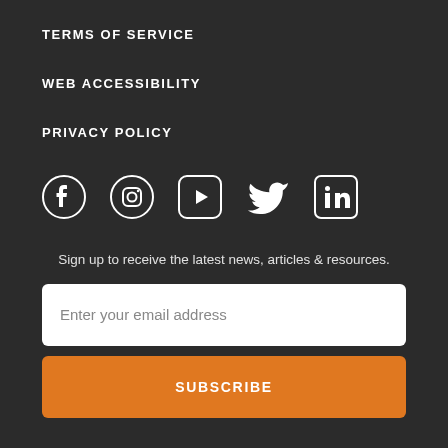TERMS OF SERVICE
WEB ACCESSIBILITY
PRIVACY POLICY
[Figure (illustration): Row of social media icons: Facebook, Instagram, YouTube, Twitter, LinkedIn]
Sign up to receive the latest news, articles & resources.
Enter your email address
SUBSCRIBE